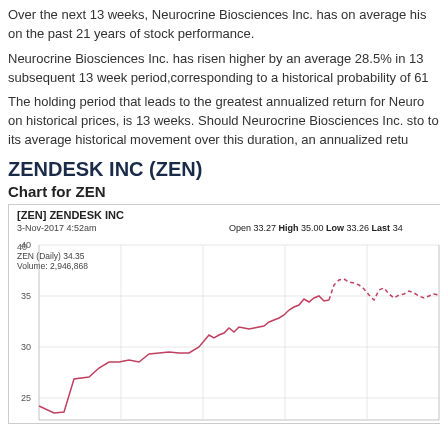Over the next 13 weeks, Neurocrine Biosciences Inc. has on average his on the past 21 years of stock performance.
Neurocrine Biosciences Inc. has risen higher by an average 28.5% in 13 subsequent 13 week period,corresponding to a historical probability of 61
The holding period that leads to the greatest annualized return for Neuro on historical prices, is 13 weeks. Should Neurocrine Biosciences Inc. sto to its average historical movement over this duration, an annualized retu
ZENDESK INC (ZEN)
Chart for ZEN
[Figure (continuous-plot): Stock price chart for Zendesk Inc (ZEN). Header shows: [ZEN] ZENDESK INC, 3-Nov-2017 4:52am, Open 33.27 High 35.00 Low 33.26 Last 34. Chart shows ZEN (Daily) 34.35, Volume: 2,946,868. Y-axis shows price levels at 25, 30, 35, 40. The line chart shows a solid red line rising from roughly 23-24 in the left portion up to ~35 in the right, then a dashed line continuing at ~35-36 level across the far right.]